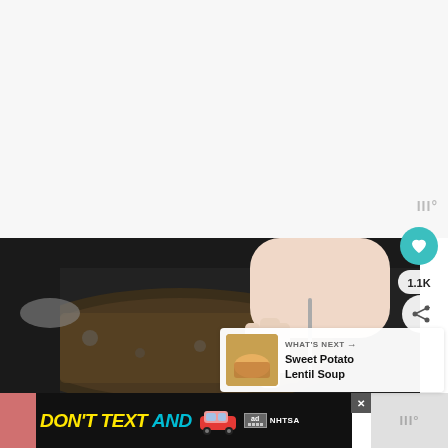[Figure (screenshot): Website screenshot showing a cooking/recipe page. Top portion is white/light gray background. A teal heart/save button with count '1.1K' and a share button (+) are visible on the right side. Below is a photograph of a hand stirring food in a dark pan/pot. In the bottom-right corner is a 'WHAT'S NEXT' card with a thumbnail image and text 'Sweet Potato Lentil Soup'. At the bottom is an advertisement banner reading 'DON'T TEXT AND' with a red car emoji, an 'ad' badge, and NHTSA logo. A watermark 'III°' appears twice. Pink color is visible partially at the bottom left.]